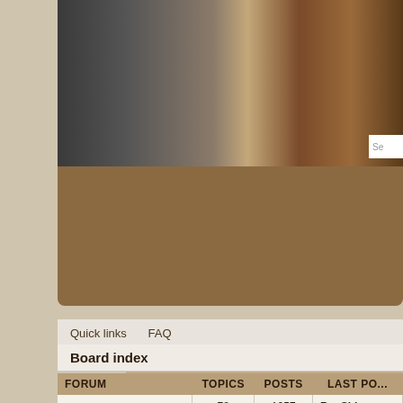[Figure (screenshot): Website banner with dark and warm toned background image, partially visible]
News   FAQ   Downloads   Source Code   Issue Tra...
Forum   Discord   IRC   The Team
Quick links    FAQ
Board index
| FORUM | TOPICS | POSTS | LAST PO... |
| --- | --- | --- | --- |
| News
Feel free to discuss here about news on our blog | 78 | 1057 | Re: Shin...
by AnyOl...
23 Jul 20... |
| MAIN | TOPICS | POSTS | LAST POS... |
| --- | --- | --- | --- |